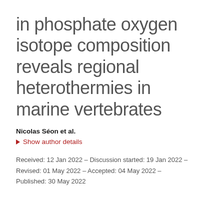in phosphate oxygen isotope composition reveals regional heterothermies in marine vertebrates
Nicolas Séon et al.
▶ Show author details
Received: 12 Jan 2022 – Discussion started: 19 Jan 2022 – Revised: 01 May 2022 – Accepted: 04 May 2022 – Published: 30 May 2022